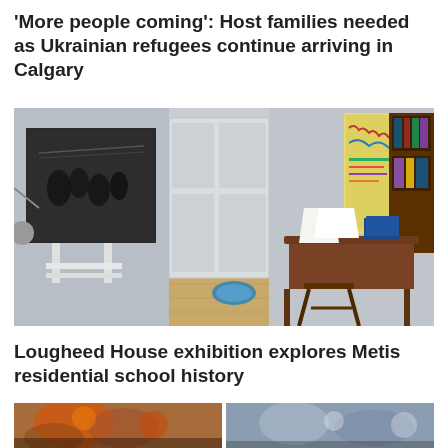'More people coming': Host families needed as Ukrainian refugees continue arriving in Calgary
[Figure (photo): Interior of a historical room exhibition showing framed black-and-white photographs on display stands, a white painted door, wooden floor, a decorative poster on the right wall, and antique wooden furniture including a desk, stool, and bookcase with books]
Lougheed House exhibition explores Metis residential school history
[Figure (photo): Partial view of people at what appears to be an outdoor event or gathering, two panels side by side showing crowds and individuals]